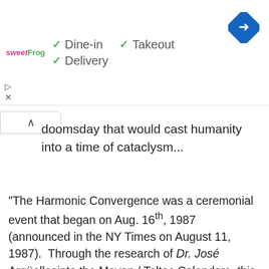[Figure (screenshot): sweetFrog restaurant ad banner showing dine-in, takeout, delivery options with green checkmarks and a blue navigation icon]
doomsday that would cast humanity into a time of cataclysm...
"The Harmonic Convergence was a ceremonial event that began on Aug. 16th, 1987 (announced in the NY Times on August 11, 1987). Through the research of Dr. José Argüellesinto the Mayan / Toltec Calendars, this date of prophetic importance became the stimulus for many people to gather at sacred sites around the world. The Mayan calendar prophecy pointed to a time (conjectured by some) of renaissance and planetary quickening linked to the completion of our sun's 26,000 year (lit. 25,920 years known as Plato's Great Year) a hitel